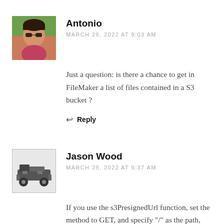[Figure (photo): Avatar photo of Antonio, a man with sunglasses outdoors]
Antonio
MARCH 28, 2022 AT 9:03 AM
Just a question: is there a chance to get in FileMaker a list of files contained in a S3 bucket ?
Reply
[Figure (photo): Avatar photo of Jason Wood, small dark illustration/avatar with machinery]
Jason Wood
MARCH 28, 2022 AT 9:37 AM
If you use the s3PresignedUrl function, set the method to GET, and specify "/" as the path, then you will get a list of objects returned in XML format, up to 1000 items.